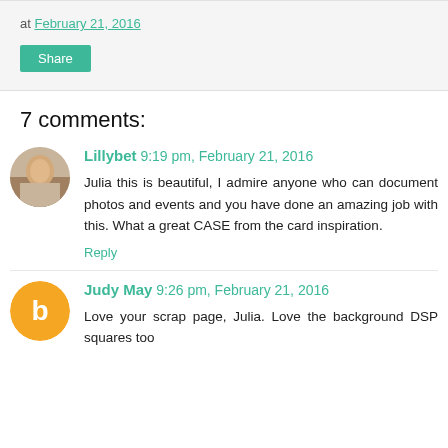at February 21, 2016
Share
7 comments:
Lillybet 9:19 pm, February 21, 2016
Julia this is beautiful, I admire anyone who can document photos and events and you have done an amazing job with this. What a great CASE from the card inspiration.
Reply
Judy May 9:26 pm, February 21, 2016
Love your scrap page, Julia. Love the background DSP squares too